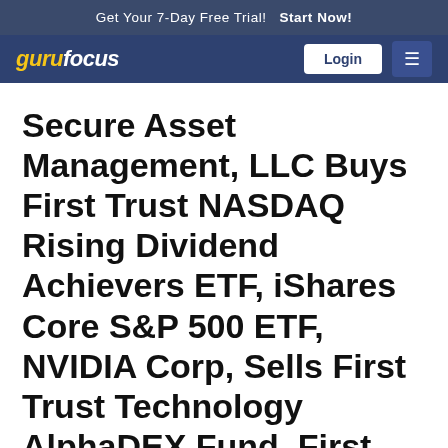Get Your 7-Day Free Trial!  Start Now!
gurufocus  Login
Secure Asset Management, LLC Buys First Trust NASDAQ Rising Dividend Achievers ETF, iShares Core S&P 500 ETF, NVIDIA Corp, Sells First Trust Technology AlphaDEX Fund, First Trust Industrials/Producer Durables AlphaDEX, First Trust Lunt U.S. Factor Rotatio